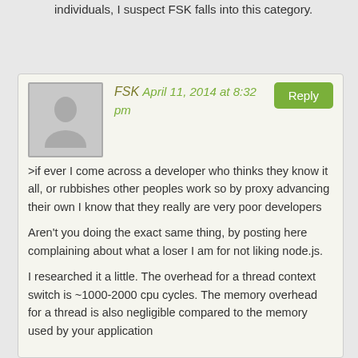individuals, I suspect FSK falls into this category.
FSK April 11, 2014 at 8:32 pm
>if ever I come across a developer who thinks they know it all, or rubbishes other peoples work so by proxy advancing their own I know that they really are very poor developers

Aren't you doing the exact same thing, by posting here complaining about what a loser I am for not liking node.js.

I researched it a little. The overhead for a thread context switch is ~1000-2000 cpu cycles. The memory overhead for a thread is also negligible compared to the memory used by your application